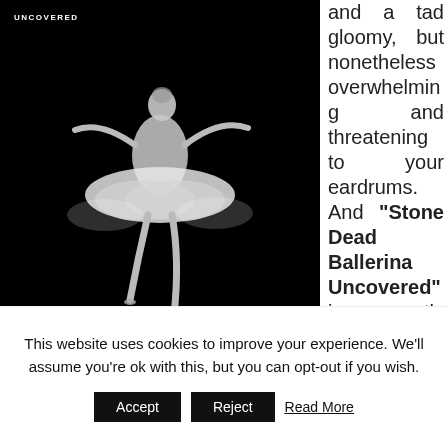[Figure (photo): Black and white photograph of a ballerina in a tutu leaping against a black background, with the watermark text 'UNCOVERED' in the top left corner.]
and a tad gloomy, but nonetheless overwhelming and threatening to your eardrums. And "Stone Dead Ballerina Uncovered" is exactly what the aforementioned statements promise, a murky,
This website uses cookies to improve your experience. We'll assume you're ok with this, but you can opt-out if you wish.
Accept  Reject  Read More